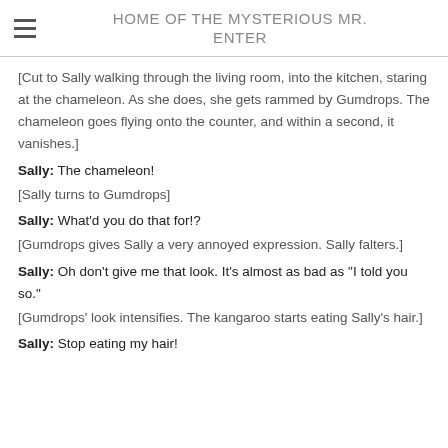HOME OF THE MYSTERIOUS MR. ENTER
[Cut to Sally walking through the living room, into the kitchen, staring at the chameleon. As she does, she gets rammed by Gumdrops. The chameleon goes flying onto the counter, and within a second, it vanishes.]
Sally: The chameleon!
[Sally turns to Gumdrops]
Sally: What'd you do that for!?
[Gumdrops gives Sally a very annoyed expression. Sally falters.]
Sally: Oh don't give me that look. It's almost as bad as "I told you so."
[Gumdrops' look intensifies. The kangaroo starts eating Sally's hair.]
Sally: Stop eating my hair!